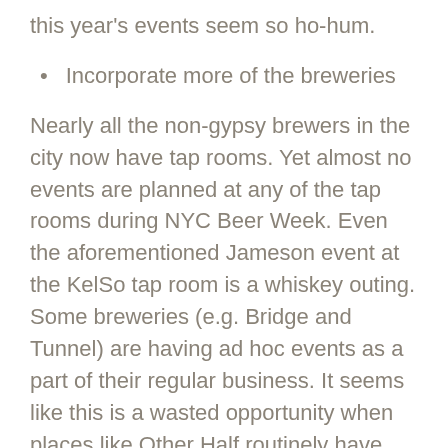this year's events seem so ho-hum.
Incorporate more of the breweries
Nearly all the non-gypsy brewers in the city now have tap rooms. Yet almost no events are planned at any of the tap rooms during NYC Beer Week. Even the aforementioned Jameson event at the KelSo tap room is a whiskey outing. Some breweries (e.g. Bridge and Tunnel) are having ad hoc events as a part of their regular business. It seems like this is a wasted opportunity when places like Other Half routinely have lines around the block trying to get a new beer release. If the NYCBG is about the actual breweries, shouldn't more events be taking place at the breweries?
Hire a few privates